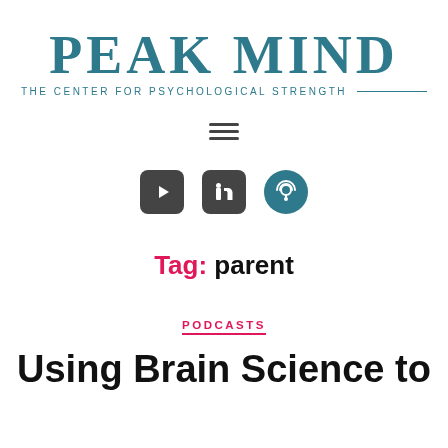[Figure (logo): Peak Mind logo with text 'PEAK MIND' in large teal serif font and subtitle 'THE CENTER FOR PSYCHOLOGICAL STRENGTH' with teal horizontal line]
[Figure (other): Hamburger menu icon (three horizontal lines)]
[Figure (other): Social media icons: YouTube (dark rounded square), LinkedIn (dark rounded square), Podcast (teal circle with wifi/broadcast symbol)]
Tag: parent
PODCASTS
Using Brain Science to